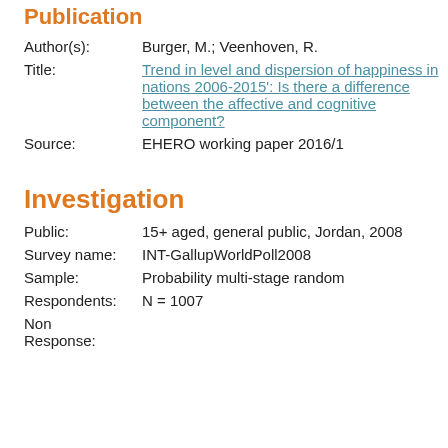Publication
Author(s): Burger, M.; Veenhoven, R.
Title: Trend in level and dispersion of happiness in nations 2006-2015': Is there a difference between the affective and cognitive component?
Source: EHERO working paper 2016/1
Investigation
Public: 15+ aged, general public, Jordan, 2008
Survey name: INT-GallupWorldPoll2008
Sample: Probability multi-stage random
Respondents: N = 1007
Non Response: